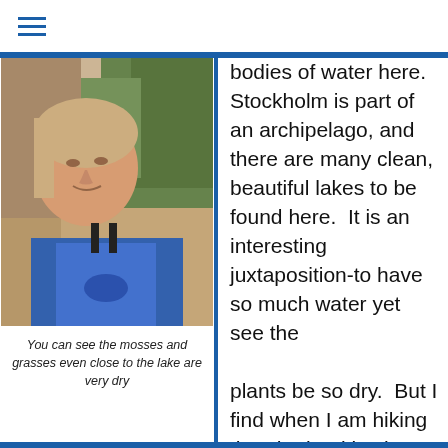≡
[Figure (photo): Woman outdoors holding a blue bag, with trees and dry ground in the background]
You can see the mosses and grasses even close to the lake are very dry
bodies of water here. Stockholm is part of an archipelago, and there are many clean, beautiful lakes to be found here.  It is an interesting juxtaposition-to have so much water yet see the

plants be so dry.  But I find when I am hiking that the land is also very rocky in many spots, kind of like you